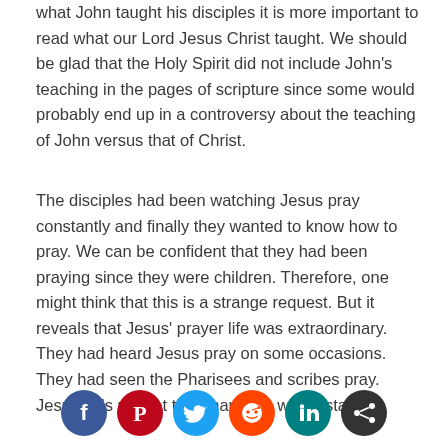what John taught his disciples it is more important to read what our Lord Jesus Christ taught. We should be glad that the Holy Spirit did not include John's teaching in the pages of scripture since some would probably end up in a controversy about the teaching of John versus that of Christ.
The disciples had been watching Jesus pray constantly and finally they wanted to know how to pray. We can be confident that they had been praying since they were children. Therefore, one might think that this is a strange request. But it reveals that Jesus' prayer life was extraordinary. They had heard Jesus pray on some occasions. They had seen the Pharisees and scribes pray. Jesus tells us that the Pharisees would stand to
[Figure (infographic): Social media sharing buttons row: Facebook (blue), Pinterest (red), Twitter (light blue), Reddit (orange), LinkedIn (teal), Share/more (dark gray)]